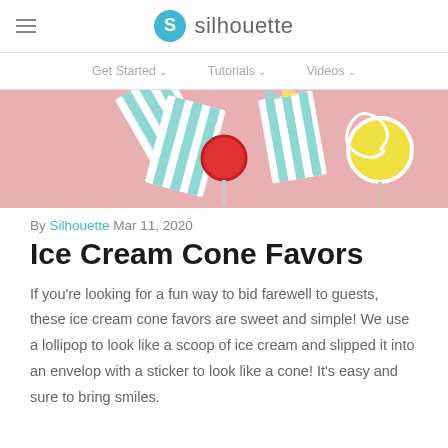silhouette
Get Started   Tutorials   Videos
[Figure (photo): Pink background with striped mint/white paper ice cream cone holders and a red lollipop and a yellow lollipop arranged decoratively]
By Silhouette Mar 11, 2020
Ice Cream Cone Favors
If you're looking for a fun way to bid farewell to guests, these ice cream cone favors are sweet and simple! We use a lollipop to look like a scoop of ice cream and slipped it into an envelop with a sticker to look like a cone! It's easy and sure to bring smiles.